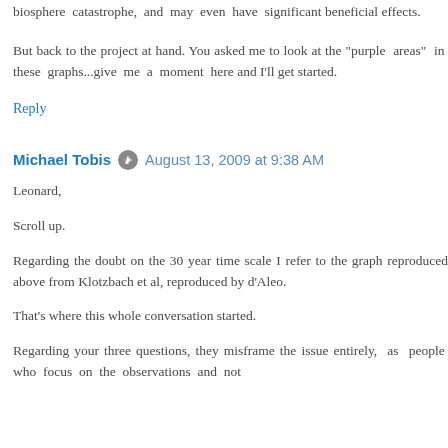biosphere catastrophe, and may even have significant beneficial effects.
But back to the project at hand. You asked me to look at the "purple areas" in these graphs...give me a moment here and I'll get started.
Reply
Michael Tobis  August 13, 2009 at 9:38 AM
Leonard,
Scroll up.
Regarding the doubt on the 30 year time scale I refer to the graph reproduced above from Klotzbach et al, reproduced by d'Aleo.
That's where this whole conversation started.
Regarding your three questions, they misframe the issue entirely, as people who focus on the observations and not